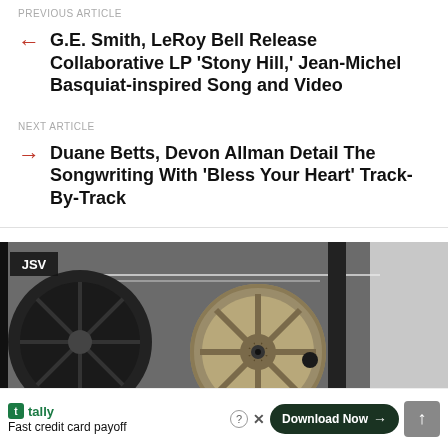PREVIOUS ARTICLE
G.E. Smith, LeRoy Bell Release Collaborative LP 'Stony Hill,' Jean-Michel Basquiat-inspired Song and Video
NEXT ARTICLE
Duane Betts, Devon Allman Detail The Songwriting With 'Bless Your Heart' Track-By-Track
[Figure (photo): Close-up photo of a reel-to-reel tape machine with yellow/gold reels against a dark background. JSV badge in top-left corner.]
tally Fast credit card payoff  Download Now